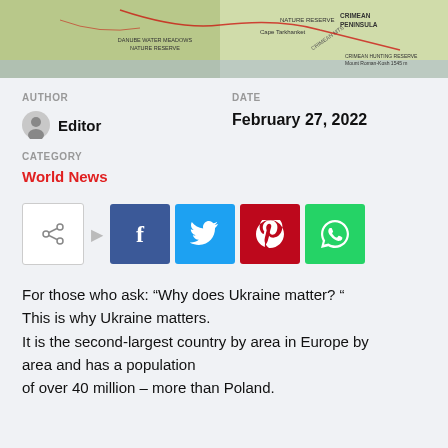[Figure (map): Partial map of Ukraine showing nature reserves including Danube Water Meadows Nature Reserve, Cape Tarkhanket, Crimean Peninsula, Crimean Mts, and Crimean Hunting Reserve / Mount Roman-Kosh 1545m]
AUTHOR
Editor
DATE
February 27, 2022
CATEGORY
World News
[Figure (infographic): Social share buttons: share icon, Facebook, Twitter, Pinterest, WhatsApp]
For those who ask: “Why does Ukraine matter? “ This is why Ukraine matters.
It is the second-largest country by area in Europe by area and has a population
of over 40 million – more than Poland.